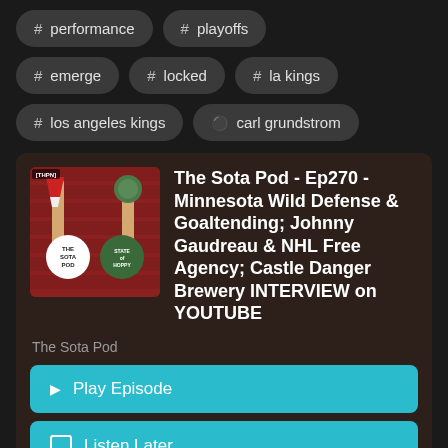# performance
# playoffs
# emerge
# locked
# la kings
# los angeles kings
carl grundstrom
The Sota Pod - Ep270 - Minnesota Wild Defense & Goaltending; Johnny Gaudreau & NHL Free Agency; Castle Danger Brewery INTERVIEW on YOUTUBE
The Sota Pod
Play Episode
Listen Later